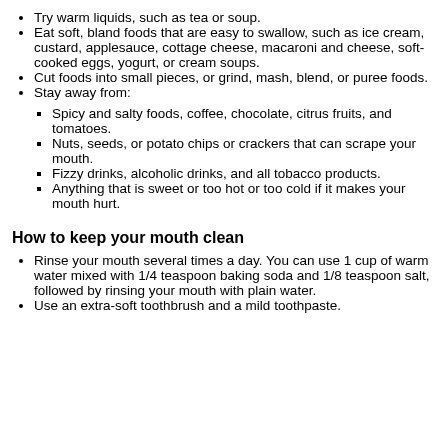Try warm liquids, such as tea or soup.
Eat soft, bland foods that are easy to swallow, such as ice cream, custard, applesauce, cottage cheese, macaroni and cheese, soft-cooked eggs, yogurt, or cream soups.
Cut foods into small pieces, or grind, mash, blend, or puree foods.
Stay away from:
Spicy and salty foods, coffee, chocolate, citrus fruits, and tomatoes.
Nuts, seeds, or potato chips or crackers that can scrape your mouth.
Fizzy drinks, alcoholic drinks, and all tobacco products.
Anything that is sweet or too hot or too cold if it makes your mouth hurt.
How to keep your mouth clean
Rinse your mouth several times a day. You can use 1 cup of warm water mixed with 1/4 teaspoon baking soda and 1/8 teaspoon salt, followed by rinsing your mouth with plain water.
Use an extra-soft toothbrush and a mild toothpaste.